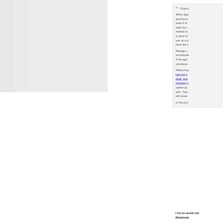Original posted quote: When Spe... and the to... what is th... older by (... relative to... to grow ol... was at a d... have the s...
Perhaps i... simultaneit... If the age... simultane...
Measuring... cant we u... (Edit: and... changes o... speed up... with. Ther... will revea...
Is this pos...
I try to avoid cla... Relativity